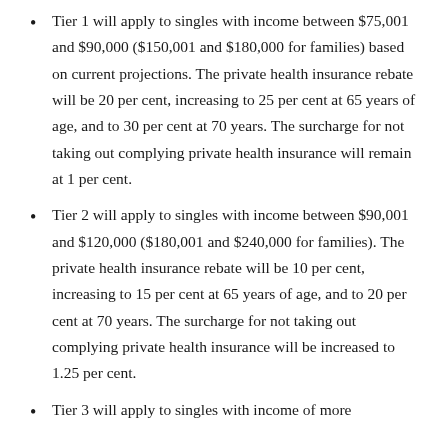Tier 1 will apply to singles with income between $75,001 and $90,000 ($150,001 and $180,000 for families) based on current projections. The private health insurance rebate will be 20 per cent, increasing to 25 per cent at 65 years of age, and to 30 per cent at 70 years. The surcharge for not taking out complying private health insurance will remain at 1 per cent.
Tier 2 will apply to singles with income between $90,001 and $120,000 ($180,001 and $240,000 for families). The private health insurance rebate will be 10 per cent, increasing to 15 per cent at 65 years of age, and to 20 per cent at 70 years. The surcharge for not taking out complying private health insurance will be increased to 1.25 per cent.
Tier 3 will apply to singles with income of more